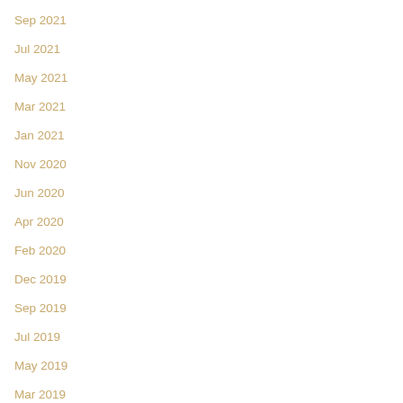Sep 2021
Aug 2021
Jul 2021
Jun 2021
May 2021
Apr 2021
Mar 2021
Feb 2021
Jan 2021
Dec 2020
Nov 2020
Sep 2020
Jun 2020
May 2020
Apr 2020
Mar 2020
Feb 2020
Jan 2020
Dec 2019
Oct 2019
Sep 2019
Aug 2019
Jul 2019
Jun 2019
May 2019
Apr 2019
Mar 2019
Jan 2019
Dec 2018
Nov 2018